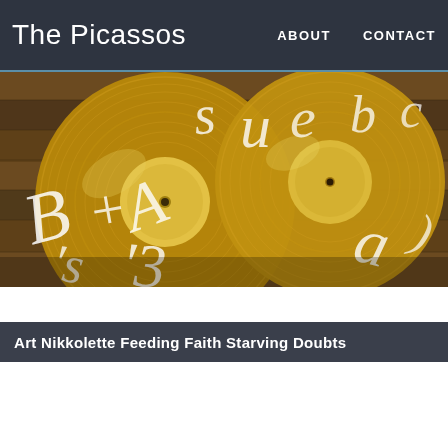The Picassos  ABOUT  CONTACT
[Figure (photo): Golden/metallic vinyl records with decorative calligraphic script writing on them, stacked against a wooden background. The records have a warm gold color with white cursive lettering.]
Art Nikkolette Feeding Faith Starving Doubts